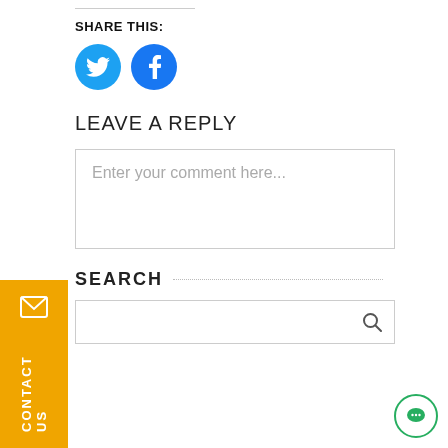SHARE THIS:
[Figure (infographic): Two circular social share buttons: Twitter (light blue) and Facebook (blue) with white icons]
LEAVE A REPLY
Enter your comment here...
SEARCH
[Figure (other): Search input box with magnifying glass icon]
[Figure (other): Yellow contact us sidebar panel with envelope icon and vertical CONTACT US text]
[Figure (other): Green circular chat bubble button bottom right]